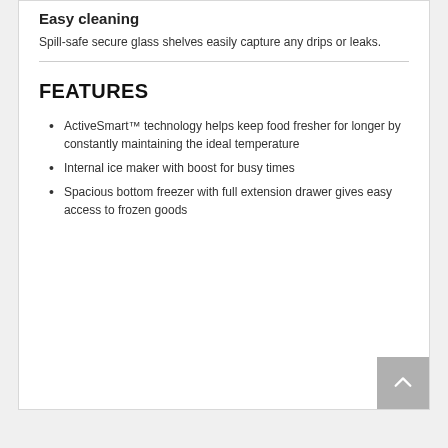Easy cleaning
Spill-safe secure glass shelves easily capture any drips or leaks.
FEATURES
ActiveSmart™ technology helps keep food fresher for longer by constantly maintaining the ideal temperature
Internal ice maker with boost for busy times
Spacious bottom freezer with full extension drawer gives easy access to frozen goods